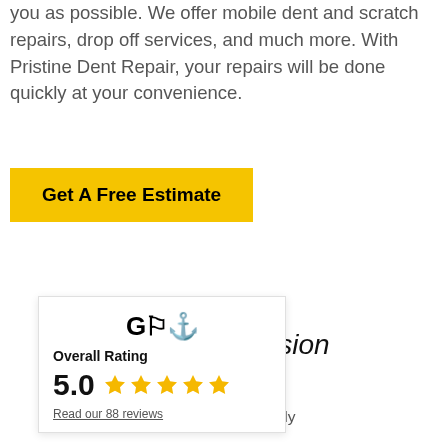When it comes to service, we make things as easy for you as possible. We offer mobile dent and scratch repairs, drop off services, and much more. With Pristine Dent Repair, your repairs will be done quickly at your convenience.
Get A Free Estimate
[Figure (other): Google/Facebook review widget card showing Overall Rating 5.0 with 5 yellow stars and a link to Read our 88 reviews]
Auto collision service is an incredibly